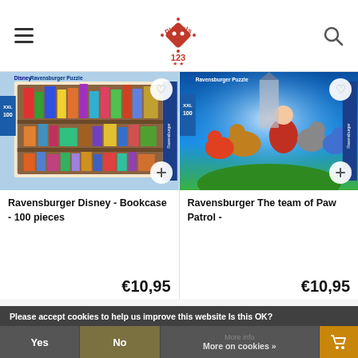puzzels123 - header with hamburger menu and search icon
[Figure (photo): Ravensburger Disney Bookcase puzzle box image with XXL 100 pieces branding]
Ravensburger Disney - Bookcase - 100 pieces
€10,95
[Figure (photo): Ravensburger The team of Paw Patrol puzzle box image with XXL 100 pieces branding]
Ravensburger The team of Paw Patrol -
€10,95
Please accept cookies to help us improve this website Is this OK?
Yes
No
More info
More on cookies »
[Figure (illustration): Shopping cart icon in golden/orange button]